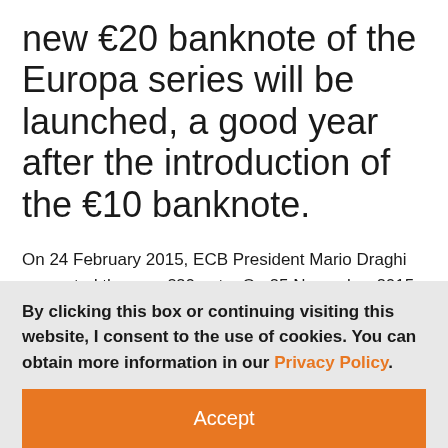new €20 banknote of the Europa series will be launched, a good year after the introduction of the €10 banknote.
On 24 February 2015, ECB President Mario Draghi presented the new €20 note. On 25 November 2015, the new €20 banknote of the Europa series will be launched, a good year after the introduction of the €10
By clicking this box or continuing visiting this website, I consent to the use of cookies. You can obtain more information in our Privacy Policy.
Accept